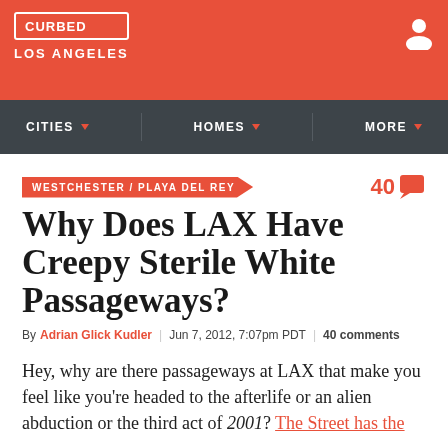CURBED LOS ANGELES
CITIES | HOMES | MORE
WESTCHESTER/PLAYA DEL REY
Why Does LAX Have Creepy Sterile White Passageways?
By Adrian Glick Kudler | Jun 7, 2012, 7:07pm PDT | 40 comments
Hey, why are there passageways at LAX that make you feel like you're headed to the afterlife or an alien abduction or the third act of 2001? The Street has the